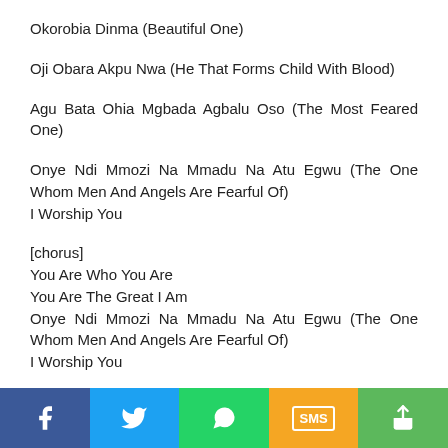Okorobia Dinma (Beautiful One)
Oji Obara Akpu Nwa (He That Forms Child With Blood)
Agu Bata Ohia Mgbada Agbalu Oso (The Most Feared One)
Onye Ndi Mmozi Na Mmadu Na Atu Egwu (The One Whom Men And Angels Are Fearful Of)
I Worship You
[chorus]
You Are Who You Are
You Are The Great I Am
Onye Ndi Mmozi Na Mmadu Na Atu Egwu (The One Whom Men And Angels Are Fearful Of)
I Worship You
You Are Who You Are
Facebook  Twitter  WhatsApp  SMS  Share